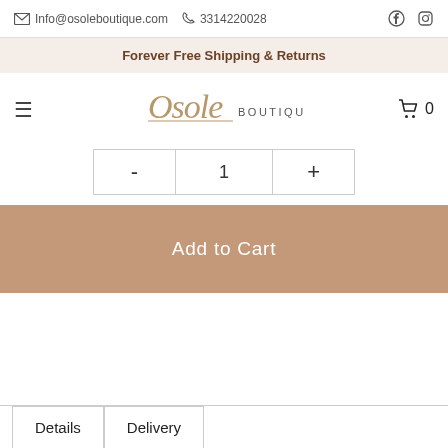Info@osoleboutique.com  3314220028
Forever Free Shipping & Returns
[Figure (logo): Osole BOUTIQUE logo with script and uppercase lettering]
- 1 +
Add to Cart
Details  Delivery